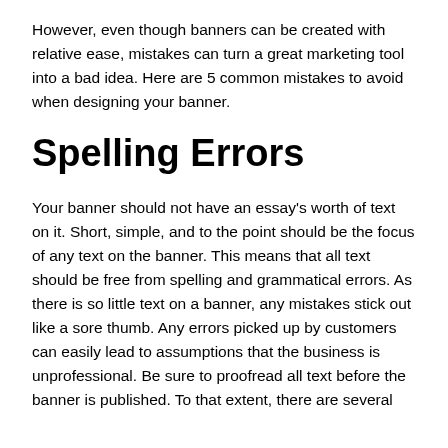However, even though banners can be created with relative ease, mistakes can turn a great marketing tool into a bad idea. Here are 5 common mistakes to avoid when designing your banner.
Spelling Errors
Your banner should not have an essay's worth of text on it. Short, simple, and to the point should be the focus of any text on the banner. This means that all text should be free from spelling and grammatical errors. As there is so little text on a banner, any mistakes stick out like a sore thumb. Any errors picked up by customers can easily lead to assumptions that the business is unprofessional. Be sure to proofread all text before the banner is published. To that extent, there are several